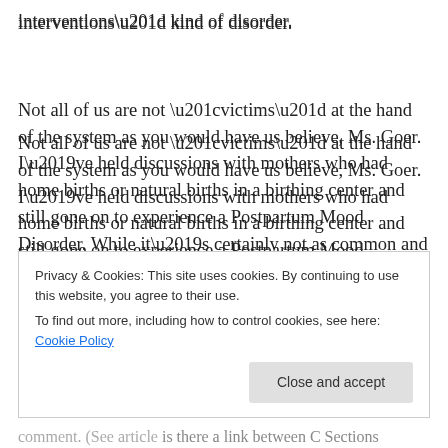interventions” kind of disorder.
Not all of us are not “victims” at the hand of the system as you would have us believe, Ms. Goer. I’ve held discussions with mothers who had home births or natural births in a birthing center and still gone on to experience a Postpartum Mood Disorder. While it’s certainly not as common and there is a seeming correlation to
Privacy & Cookies: This site uses cookies. By continuing to use this website, you agree to their use.
To find out more, including how to control cookies, see here: Cookie Policy
Close and accept
comment. (See article “Is there a link between C Sections